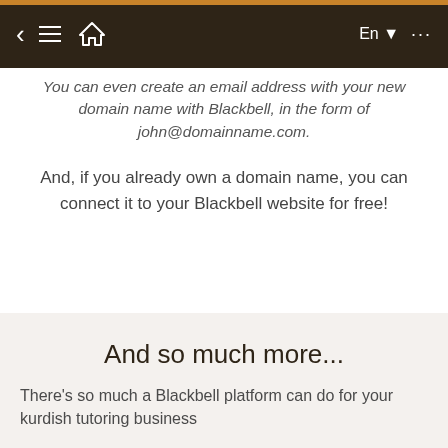Navigation bar with back, menu, home, En language selector, and more options
You can even create an email address with your new domain name with Blackbell, in the form of john@domainname.com.
And, if you already own a domain name, you can connect it to your Blackbell website for free!
And so much more...
There's so much a Blackbell platform can do for your kurdish tutoring business
Business Software - Blackbell allows you to